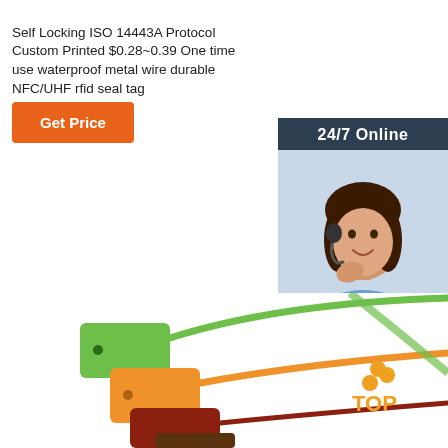Self Locking ISO 14443A Protocol Custom Printed $0.28~0.39 One time use waterproof metal wire durable NFC/UHF rfid seal tag
Get Price
[Figure (infographic): 24/7 Online customer service widget with a woman wearing headset and button: Click here for free chat! QUOTATION]
[Figure (photo): Photo of colorful self-locking plastic seal tags in green, orange, red, and brown colors with wire ties, with a TOP logo watermark.]